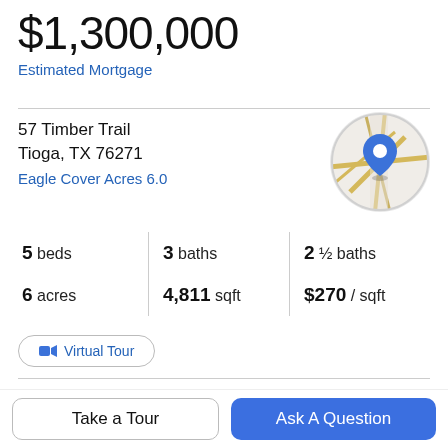$1,300,000
Estimated Mortgage
57 Timber Trail
Tioga, TX 76271
Eagle Cover Acres 6.0
[Figure (map): Circular map thumbnail showing location with a blue map pin marker]
5 beds | 3 baths | 2 ½ baths
6 acres | 4,811 sqft | $270 / sqft
Virtual Tour
Offered by Bryan Davis of Keller Williams Central: One.
Property Description
Take a Tour
Ask A Question